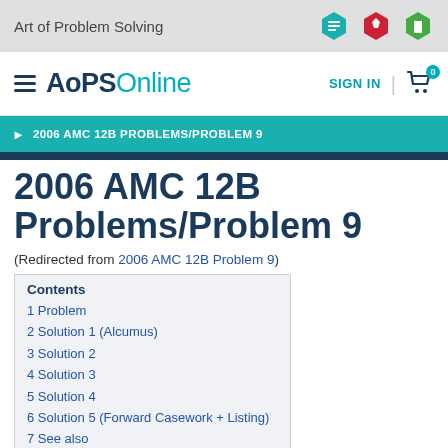Art of Problem Solving
AoPS Online
2006 AMC 12B PROBLEMS/PROBLEM 9
2006 AMC 12B Problems/Problem 9
(Redirected from 2006 AMC 12B Problem 9)
Contents
1 Problem
2 Solution 1 (Alcumus)
3 Solution 2
4 Solution 3
5 Solution 4
6 Solution 5 (Forward Casework + Listing)
7 See also